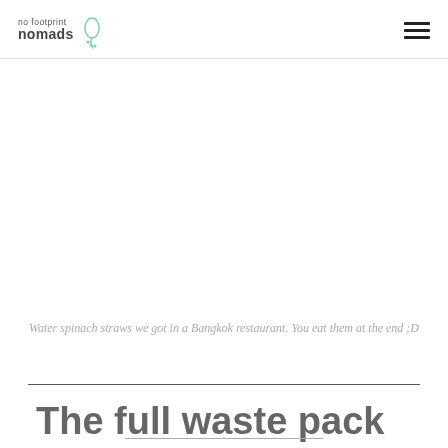no footprint nomads
Water spinach straws we got in a Bangkok restaurant. You eat them at the end ;D
The full waste pack